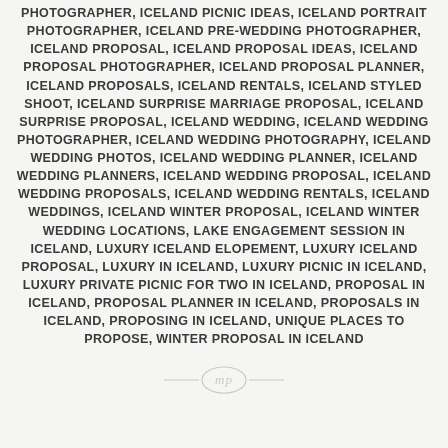PHOTOGRAPHER, ICELAND PICNIC IDEAS, ICELAND PORTRAIT PHOTOGRAPHER, ICELAND PRE-WEDDING PHOTOGRAPHER, ICELAND PROPOSAL, ICELAND PROPOSAL IDEAS, ICELAND PROPOSAL PHOTOGRAPHER, ICELAND PROPOSAL PLANNER, ICELAND PROPOSALS, ICELAND RENTALS, ICELAND STYLED SHOOT, ICELAND SURPRISE MARRIAGE PROPOSAL, ICELAND SURPRISE PROPOSAL, ICELAND WEDDING, ICELAND WEDDING PHOTOGRAPHER, ICELAND WEDDING PHOTOGRAPHY, ICELAND WEDDING PHOTOS, ICELAND WEDDING PLANNER, ICELAND WEDDING PLANNERS, ICELAND WEDDING PROPOSAL, ICELAND WEDDING PROPOSALS, ICELAND WEDDING RENTALS, ICELAND WEDDINGS, ICELAND WINTER PROPOSAL, ICELAND WINTER WEDDING LOCATIONS, LAKE ENGAGEMENT SESSION IN ICELAND, LUXURY ICELAND ELOPEMENT, LUXURY ICELAND PROPOSAL, LUXURY IN ICELAND, LUXURY PICNIC IN ICELAND, LUXURY PRIVATE PICNIC FOR TWO IN ICELAND, PROPOSAL IN ICELAND, PROPOSAL PLANNER IN ICELAND, PROPOSALS IN ICELAND, PROPOSING IN ICELAND, UNIQUE PLACES TO PROPOSE, WINTER PROPOSAL IN ICELAND
[Figure (logo): Faint watermark logo at the bottom center of the page]